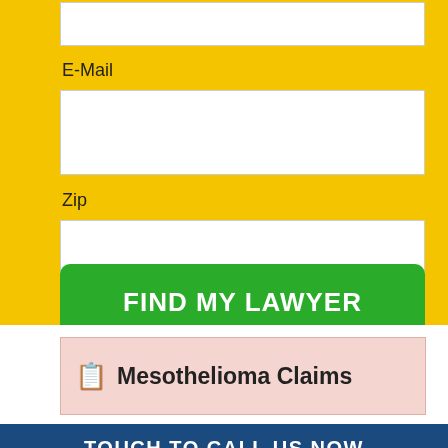E-Mail
Zip
FIND MY LAWYER
Mesothelioma Claims
TOUCH TO CALL US NOW